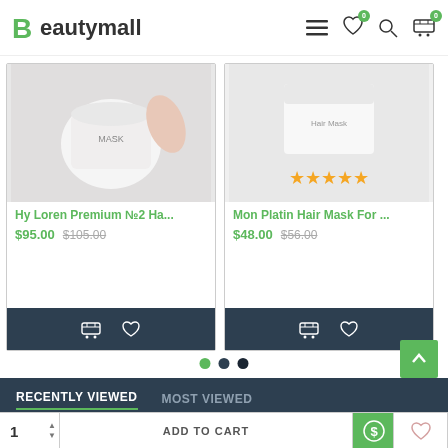[Figure (screenshot): Beautymall e-commerce website header with logo, hamburger menu, heart icon with badge 0, search icon, and cart icon with badge 0]
[Figure (photo): Product image for Hy Loren Premium No.2 Hair product showing a round jar being held]
Hy Loren Premium №2 Ha...
$95.00 $105.00
[Figure (photo): Product image for Mon Platin Hair Mask with 4 yellow stars rating]
Mon Platin Hair Mask For ...
$48.00 $56.00
[Figure (other): Carousel navigation dots: green, dark blue, darkest]
RECENTLY VIEWED
MOST VIEWED
[Figure (screenshot): Scroll to top green button with up arrow]
[Figure (screenshot): Add to cart bar with quantity selector showing 1, ADD TO CART button, green dollar icon button, and heart wishlist button]